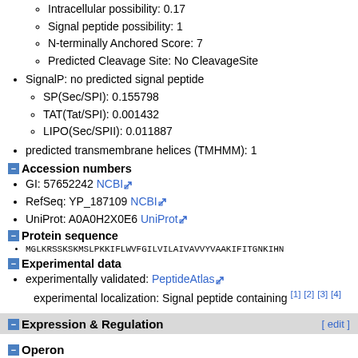Intracellular possibility: 0.17
Signal peptide possibility: 1
N-terminally Anchored Score: 7
Predicted Cleavage Site: No CleavageSite
SignalP: no predicted signal peptide
SP(Sec/SPI): 0.155798
TAT(Tat/SPI): 0.001432
LIPO(Sec/SPII): 0.011887
predicted transmembrane helices (TMHMM): 1
Accession numbers
GI: 57652242 NCBI
RefSeq: YP_187109 NCBI
UniProt: A0A0H2X0E6 UniProt
Protein sequence
MGLKRSSKSKMSLPKKIFLWVFGILVILAIVAVVYVAAKIFITGNKIHN...
Experimental data
experimentally validated: PeptideAtlas
experimental localization: Signal peptide containing [1] [2] [3] [4]
Expression & Regulation
Operon